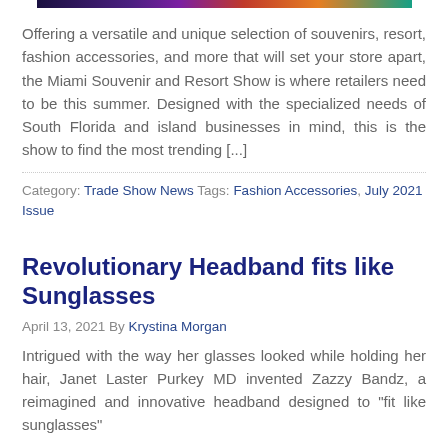[Figure (photo): Partial image at top of page, dark colorful banner/image strip]
Offering a versatile and unique selection of souvenirs, resort, fashion accessories, and more that will set your store apart, the Miami Souvenir and Resort Show is where retailers need to be this summer. Designed with the specialized needs of South Florida and island businesses in mind, this is the show to find the most trending [...]
Category: Trade Show News Tags: Fashion Accessories, July 2021 Issue
Revolutionary Headband fits like Sunglasses
April 13, 2021 By Krystina Morgan
Intrigued with the way her glasses looked while holding her hair, Janet Laster Purkey MD invented Zazzy Bandz, a reimagined and innovative headband designed to "fit like sunglasses"